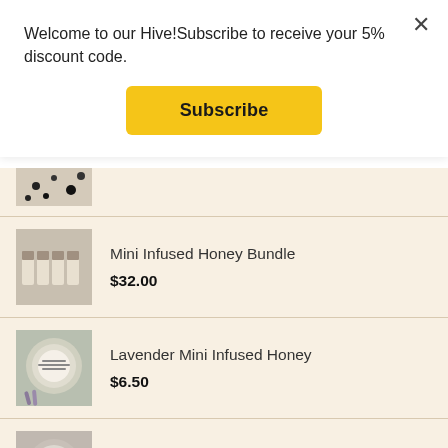Welcome to our Hive!Subscribe to receive your 5% discount code.
Subscribe
[Figure (photo): Partial product image with dark dots pattern, cropped at top]
Mini Infused Honey Bundle
$32.00
[Figure (photo): Photo of mini honey bundle product with several small jars]
Lavender Mini Infused Honey
$6.50
[Figure (photo): Photo of a jar of lavender mini infused honey with lavender sprigs]
Spicy Hot Mini Infused Honey
$6.50
[Figure (photo): Photo of a jar of spicy hot mini infused honey held by a hand]